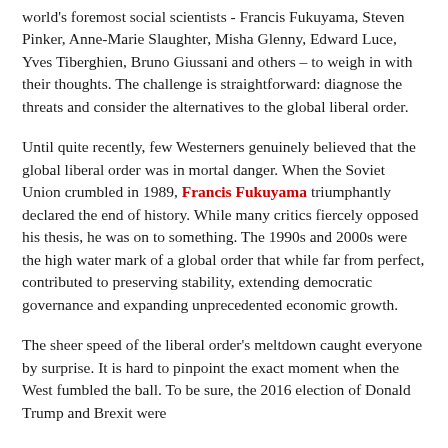world's foremost social scientists - Francis Fukuyama, Steven Pinker, Anne-Marie Slaughter, Misha Glenny, Edward Luce, Yves Tiberghien, Bruno Giussani and others – to weigh in with their thoughts. The challenge is straightforward: diagnose the threats and consider the alternatives to the global liberal order.
Until quite recently, few Westerners genuinely believed that the global liberal order was in mortal danger. When the Soviet Union crumbled in 1989, Francis Fukuyama triumphantly declared the end of history. While many critics fiercely opposed his thesis, he was on to something. The 1990s and 2000s were the high water mark of a global order that while far from perfect, contributed to preserving stability, extending democratic governance and expanding unprecedented economic growth.
The sheer speed of the liberal order's meltdown caught everyone by surprise. It is hard to pinpoint the exact moment when the West fumbled the ball. To be sure, the 2016 election of Donald Trump and Brexit were…